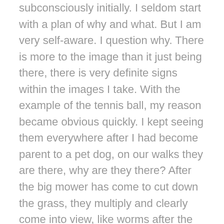subconsciously initially. I seldom start with a plan of why and what. But I am very self-aware. I question why. There is more to the image than it just being there, there is very definite signs within the images I take. With the example of the tennis ball, my reason became obvious quickly. I kept seeing them everywhere after I had become parent to a pet dog, on our walks they are there, why are they there? After the big mower has come to cut down the grass, they multiply and clearly come into view, like worms after the rain. But it isn't just the mower that destroys these tennis balls, it's the dogs that through rambunctious play, tear and rip and break their beloved toy. I have spoken to dog walkers that tell me that the tennis ball is their pet pooch's favourite toy, yet they lose and destroy them so easily, seems like careless ownership of a beloved toy to me. My dog